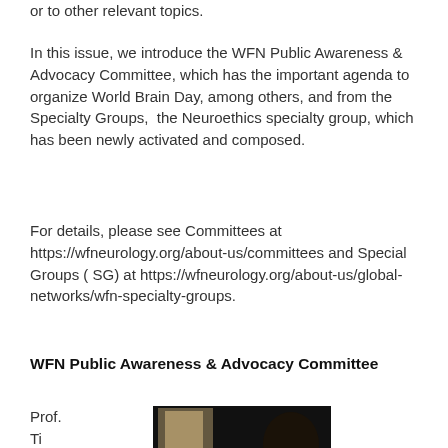or to other relevant topics.
In this issue, we introduce the WFN Public Awareness & Advocacy Committee, which has the important agenda to organize World Brain Day, among others, and from the Specialty Groups,  the Neuroethics specialty group, which has been newly activated and composed.
For details, please see Committees at https://wfneurology.org/about-us/committees and Special Groups ( SG) at https://wfneurology.org/about-us/global-networks/wfn-specialty-groups.
WFN Public Awareness & Advocacy Committee
Prof.
Ti
[Figure (photo): A dark photo showing a partial silhouette or portrait of a person]